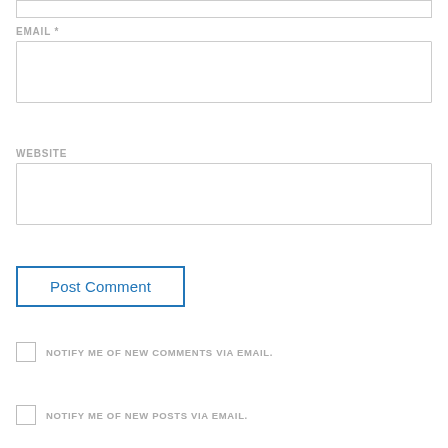[Figure (screenshot): Top portion of a web comment form input box (partially visible at top of page)]
EMAIL *
[Figure (screenshot): Email input text field (empty)]
WEBSITE
[Figure (screenshot): Website input text field (empty)]
Post Comment
NOTIFY ME OF NEW COMMENTS VIA EMAIL.
NOTIFY ME OF NEW POSTS VIA EMAIL.